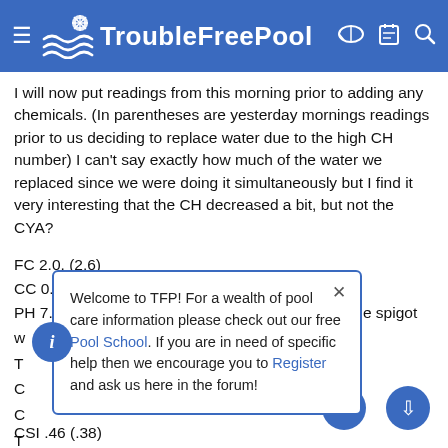TroubleFreePool
I will now put readings from this morning prior to adding any chemicals. (In parentheses are yesterday mornings readings prior to us deciding to replace water due to the high CH number) I can't say exactly how much of the water we replaced since we were doing it simultaneously but I find it very interesting that the CH decreased a bit, but not the CYA?
FC 2.0. (2.6)
CC 0. (0)
PH 7.9 also interesting if there is less than 7.0 in the spigot w...
T...
C...
C...
T...
CSI .46 (.38)
Welcome to TFP! For a wealth of pool care information please check out our free Pool School. If you are in need of specific help then we encourage you to Register and ask us here in the forum!